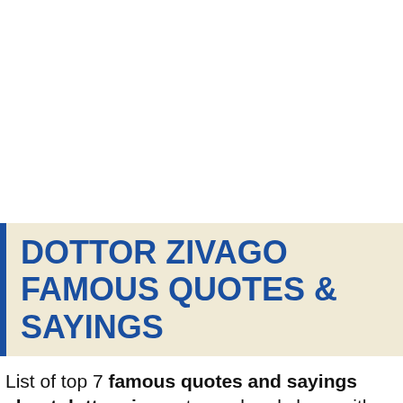DOTTOR ZIVAGO FAMOUS QUOTES & SAYINGS
List of top 7 famous quotes and sayings about dottor zivago to read and share with friends on your Facebook, Twitter, blogs...